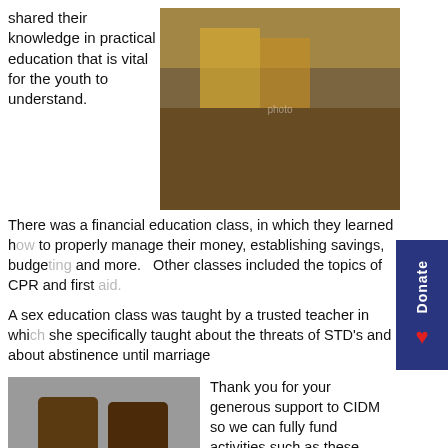shared their knowledge in practical education that is vital for the youth to understand.
[Figure (photo): Group of young people in yellow shirts gathered around a table working on a hands-on activity with an adult instructor leaning over to help them.]
There was a financial education class, in which they learned how to properly manage their money, establishing savings, budgeting and more.   Other classes included the topics of CPR and first aid.
A sex education class was taught by a trusted teacher in which she specifically taught about the threats of STD's and about abstinence until marriage
[Figure (photo): A pair of handmade sandals or shoes with yellow and black woven design.]
Thank you for your generous support to CIDM so we can fully fund activities such as these.  We praise God we were able to teach and equip the youth spiritually and practically.  We are thankful for the facility we lease that